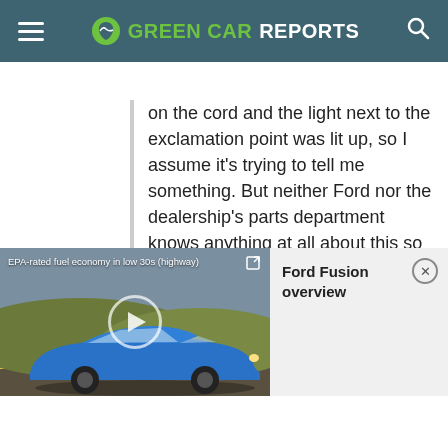GREEN CAR REPORTS
on the cord and the light next to the exclamation point was lit up, so I assume it's trying to tell me something. But neither Ford nor the dealership's parts department knows anything at all about this so they can't tell me
[Figure (screenshot): Video thumbnail of a blue Ford Fusion sedan driving on a road, with overlay caption 'EPA-rated fuel economy in low 30s (highway)' and a play button. Right panel shows 'Ford Fusion overview' title with close button.]